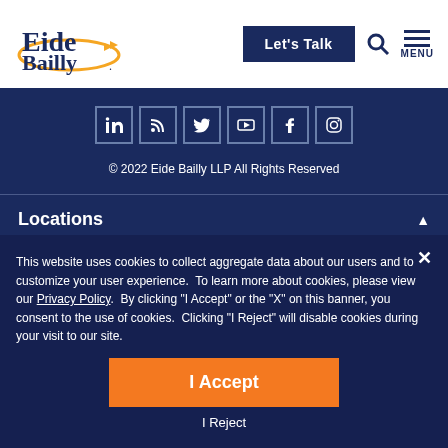[Figure (logo): Eide Bailly logo with orange swoosh and arrows]
Let's Talk
[Figure (infographic): Social media icons: LinkedIn, RSS, Twitter, YouTube, Facebook, Instagram]
© 2022 Eide Bailly LLP All Rights Reserved
Locations
Industries
This website uses cookies to collect aggregate data about our users and to customize your user experience.  To learn more about cookies, please view our Privacy Policy.  By clicking "I Accept" or the "X" on this banner, you consent to the use of cookies.  Clicking "I Reject" will disable cookies during your visit to our site.
I Accept
I Reject